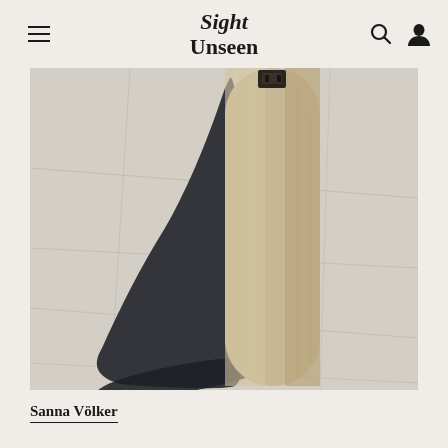Sight Unseen
[Figure (photo): Close-up photograph of a cylindrical tan/beige leather or fabric tube-shaped object standing upright on a light stone or concrete tiled floor, casting a dramatic dark shadow to the left. The object has a small rectangular clasp or hardware detail near the top.]
Sanna Völker